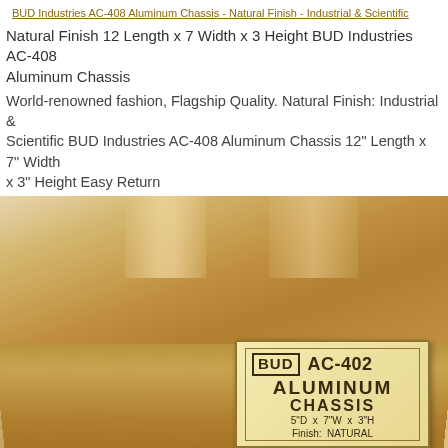BUD Industries AC-408 Aluminum Chassis - Natural Finish
Natural Finish 12 Length x 7 Width x 3 Height BUD Industries AC-408 Aluminum Chassis
World-renowned fashion, Flagship Quality. Natural Finish: Industrial & Scientific BUD Industries AC-408 Aluminum Chassis 12" Length x 7" Width x 3" Height Easy Return
[Figure (photo): A brown kraft paper wrapped rectangular box (BUD Industries aluminum chassis) with a tan label on the front face reading: BUD logo, AC-402, ALUMINUM CHASSIS, 5"D x 7"W x 3"H, Finish: NATURAL]